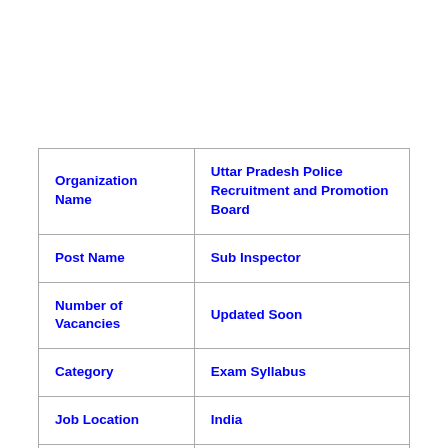|  |  |
| --- | --- |
| Organization Name | Uttar Pradesh Police Recruitment and Promotion Board |
| Post Name | Sub Inspector |
| Number of Vacancies | Updated Soon |
| Category | Exam Syllabus |
| Job Location | India |
|  |  |